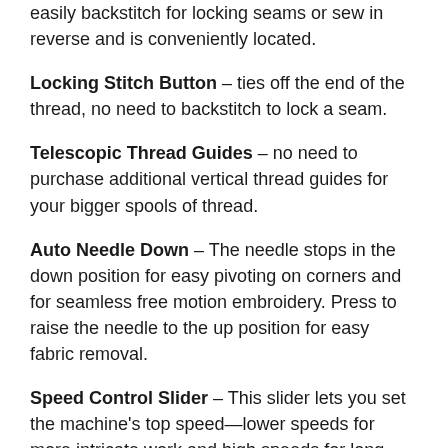Easy Reverse Button – Reverse button allows you to easily backstitch for locking seams or sew in reverse and is conveniently located.
Locking Stitch Button – ties off the end of the thread, no need to backstitch to lock a seam.
Telescopic Thread Guides – no need to purchase additional vertical thread guides for your bigger spools of thread.
Auto Needle Down – The needle stops in the down position for easy pivoting on corners and for seamless free motion embroidery. Press to raise the needle to the up position for easy fabric removal.
Speed Control Slider – This slider lets you set the machine's top speed—lower speeds for more intricate work and high speeds for long straight seams. A popular feature for beginners never sews faster than your comfort zone. It can be set as high as 1,300 spm or as low as 60 spm.